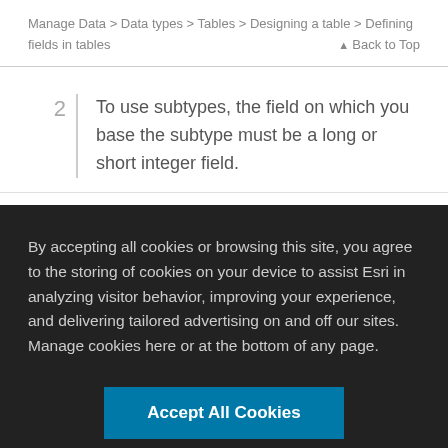Manage Data > Data types > Tables > Designing a table > Defining fields in tables    ▲ Back to Top
2   To use subtypes, the field on which you base the subtype must be a long or short integer field.
3   You can apply different topology and
By accepting all cookies or browsing this site, you agree to the storing of cookies on your device to assist Esri in analyzing visitor behavior, improving your experience, and delivering tailored advertising on and off our sites. Manage cookies here or at the bottom of any page.
Accept All Cookies
Cookies Settings